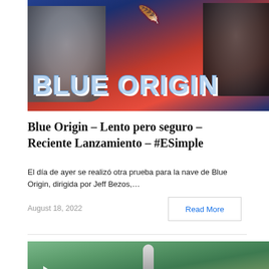[Figure (photo): Blue Origin YouTube thumbnail with two men and large bold text reading BLUE ORIGIN on a dark blue and red background with a feather logo]
Blue Origin – Lento pero seguro – Reciente Lanzamiento – #ESimple
El día de ayer se realizó otra prueba para la nave de Blue Origin, dirigida por Jeff Bezos,…
August 18, 2022
Read More
[Figure (photo): Video thumbnail showing a rocket on a launch pad with green landscape in background and a play button overlay]